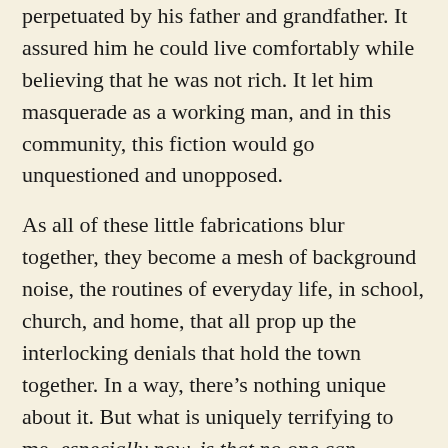perpetuated by his father and grandfather. It assured him he could live comfortably while believing that he was not rich. It let him masquerade as a working man, and in this community, this fiction would go unquestioned and unopposed.
As all of these little fabrications blur together, they become a mesh of background noise, the routines of everyday life, in school, church, and home, that all prop up the interlocking denials that hold the town together. In a way, there’s nothing unique about it. But what is uniquely terrifying to me, especially now, is that no one can acknowledge